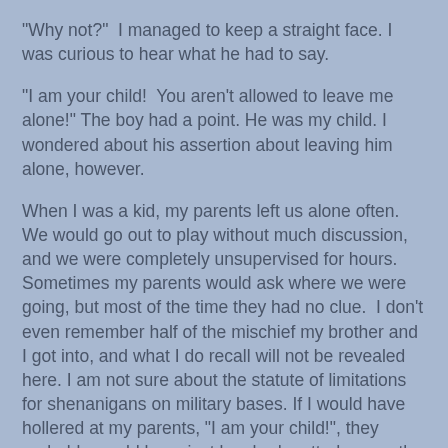"Why not?"  I managed to keep a straight face. I was curious to hear what he had to say.
"I am your child!  You aren't allowed to leave me alone!" The boy had a point. He was my child. I wondered about his assertion about leaving him alone, however.
When I was a kid, my parents left us alone often.  We would go out to play without much discussion, and we were completely unsupervised for hours.  Sometimes my parents would ask where we were going, but most of the time they had no clue.  I don't even remember half of the mischief my brother and I got into, and what I do recall will not be revealed here. I am not sure about the statute of limitations for shenanigans on military bases. If I would have hollered at my parents, "I am your child!", they probably would have just laughed, patted me on the head, then sent me to my room.
My parents weren't terrible; that is what every parent did back then.  Kids went out to play, and parents did whatever parents do inside the house.  Kids were called in at dinner time, and if it was summer, they went back outside after